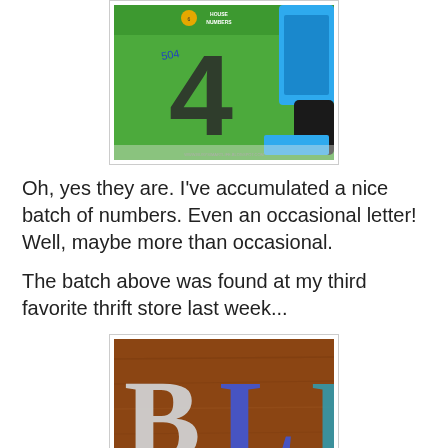[Figure (photo): Photo showing house number '4' on green packaging labeled 'House Numbers', with other items visible in background. Watermark text at bottom: www.busysimartlife.blogspot.com]
Oh, yes they are. I've accumulated a nice batch of numbers. Even an occasional letter! Well, maybe more than occasional.
The batch above was found at my third favorite thrift store last week...
[Figure (photo): Photo showing large decorative letters 'B' (white/gray) and 'L' (blue/purple) on a wooden surface, with partial view of another letter at right edge.]